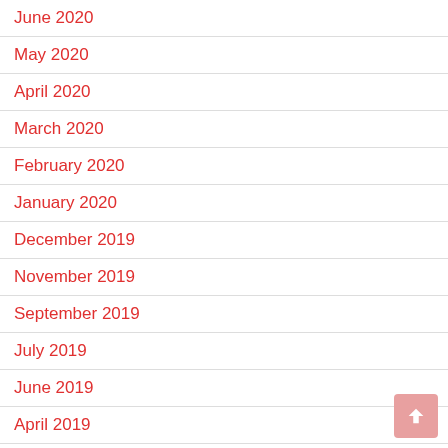June 2020
May 2020
April 2020
March 2020
February 2020
January 2020
December 2019
November 2019
September 2019
July 2019
June 2019
April 2019
March 2019